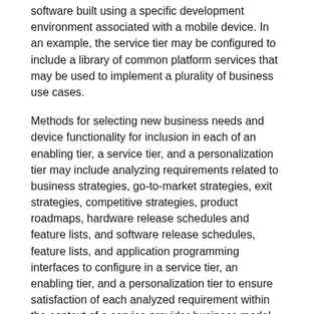software built using a specific development environment associated with a mobile device. In an example, the service tier may be configured to include a library of common platform services that may be used to implement a plurality of business use cases.
Methods for selecting new business needs and device functionality for inclusion in each of an enabling tier, a service tier, and a personalization tier may include analyzing requirements related to business strategies, go-to-market strategies, exit strategies, competitive strategies, product roadmaps, hardware release schedules and feature lists, and software release schedules, feature lists, and application programming interfaces to configure in a service tier, an enabling tier, and a personalization tier to ensure satisfaction of each analyzed requirement within the context of a service provider business model. Features may be similarly determined for additional tiers, such as expert engine and experience framework tiers.
A method or process of breaking down parts of the overall transaction, service or process into the multi-tiered ecosystem platform may be based on a combination of analytical, existing, business, or automatically aided b